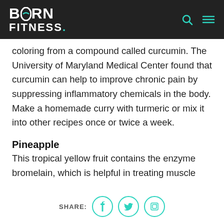BORN FITNESS.
coloring from a compound called curcumin. The University of Maryland Medical Center found that curcumin can help to improve chronic pain by suppressing inflammatory chemicals in the body. Make a homemade curry with turmeric or mix it into other recipes once or twice a week.
Pineapple
This tropical yellow fruit contains the enzyme bromelain, which is helpful in treating muscle
SHARE: